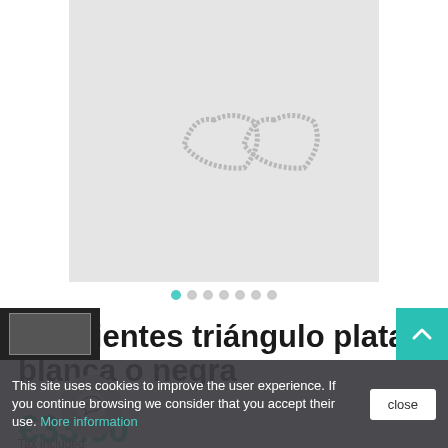[Figure (photo): Two small silver triangle-shaped stud earrings on a light grey background]
Pendientes triángulo plata blanca o negra
€33.00
Tax included
This site uses cookies to improve the user experience. If you continue browsing we consider that you accept their use. More information